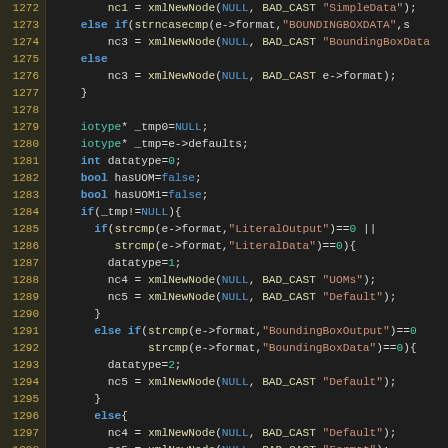[Figure (screenshot): Source code editor screenshot showing C/C++ code lines 1272-1299 with syntax highlighting. Line numbers in amber on dark yellow-brown background, code on dark background with colored tokens for keywords, strings, and types.]